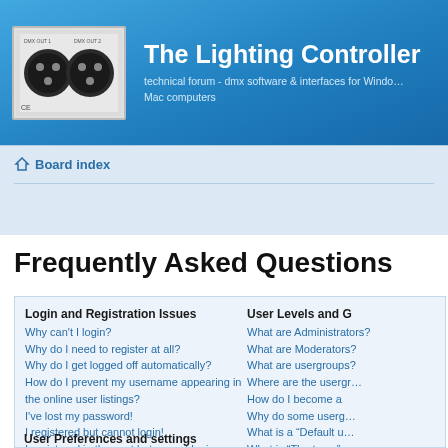The Lighting Controller — technical forum - dmx software & interfaces for Windows & Mac computers
Board index
Frequently Asked Questions
Login and Registration Issues
Why can't I login?
Why do I need to register at all?
Why do I get logged off automatically?
How do I prevent my username appearing in the online user listings?
I've lost my password!
I registered but cannot login!
I registered in the past but cannot login any more?!
What is COPPA?
Why can't I register?
What does the "Delete all board cookies" do?
User Levels and G
What are Administrators?
What are Moderators?
What are usergroups?
Where are the usergroups?
How do I become a member?
Why do some usergroups appear?
What is a "Default u…"
What is "The team"?
Private Messaging
I cannot send private messages
I keep getting unwanted messages
I have received a spam
User Preferences and settings